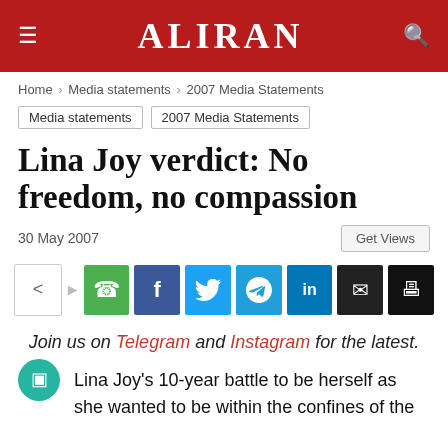ALIRAN
Home > Media statements > 2007 Media Statements
Media statements
2007 Media Statements
Lina Joy verdict: No freedom, no compassion
30 May 2007
Join us on Telegram and Instagram for the latest.
Lina Joy's 10-year battle to be herself as she wanted to be within the confines of the